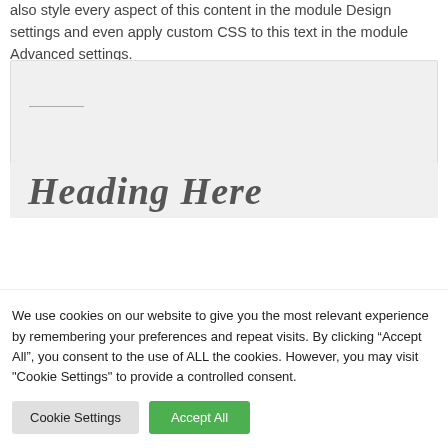also style every aspect of this content in the module Design settings and even apply custom CSS to this text in the module Advanced settings.
[Figure (other): Gray placeholder box with a short horizontal line inside]
Heading Here
We use cookies on our website to give you the most relevant experience by remembering your preferences and repeat visits. By clicking “Accept All”, you consent to the use of ALL the cookies. However, you may visit "Cookie Settings" to provide a controlled consent.